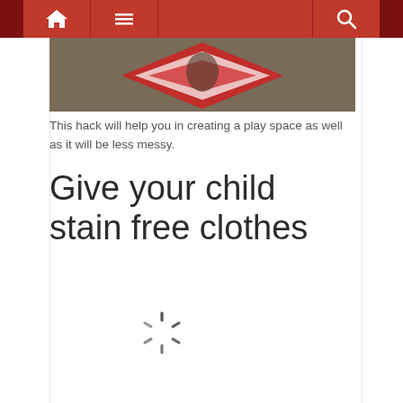Navigation bar with home, menu, and search icons
[Figure (photo): Partial photo showing a decorative item with red/white candy cane design on a dark background]
This hack will help you in creating a play space as well as it will be less messy.
Give your child stain free clothes
[Figure (other): Loading spinner/throbber indicating content is being loaded]